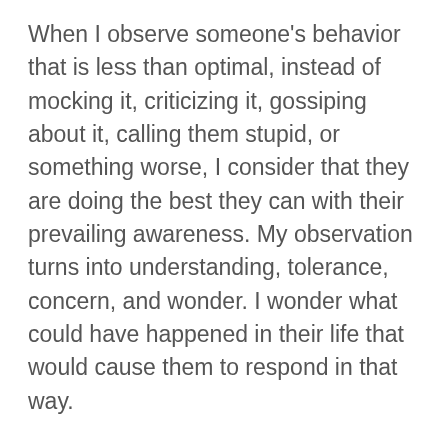When I observe someone's behavior that is less than optimal, instead of mocking it, criticizing it, gossiping about it, calling them stupid, or something worse, I consider that they are doing the best they can with their prevailing awareness. My observation turns into understanding, tolerance, concern, and wonder. I wonder what could have happened in their life that would cause them to respond in that way.
When I believe that everyone is doing the best they can, it causes me to be in a more affirming relationship. It causes me to see life as a series of opportunities instead of a series of problems. When others make a mistake or fail, it is an opportunity to learn. I am willing to accept the consequence of giving someone